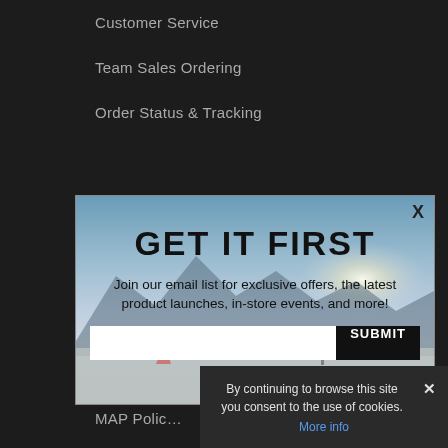Customer Service
Team Sales Ordering
Order Status & Tracking
[Figure (screenshot): Modal popup with winter landscape background. Title: GET IT FIRST. Subtitle: Join our email list for exclusive offers, the latest product launches, in-store events, and more! Contains an email input field and SUBMIT button. X close button in top right.]
Low Price Guarantee
MAP Polic
[Figure (screenshot): Cookie consent banner: By continuing to browse this site you consent to the use of cookies. More info link in blue. X close button.]